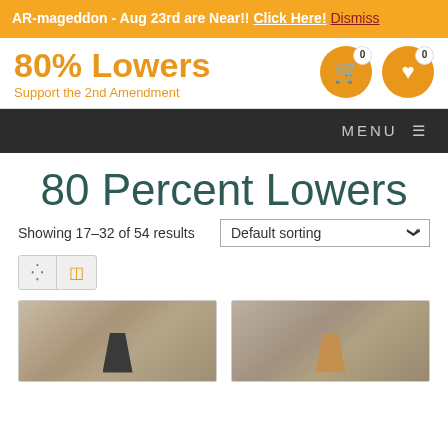AR-mageddon - Aug 23rd are Near!! Click Here! Dismiss
80% Lowers
Support the 2nd Amendment
MENU
80 Percent Lowers
Showing 17–32 of 54 results
Default sorting